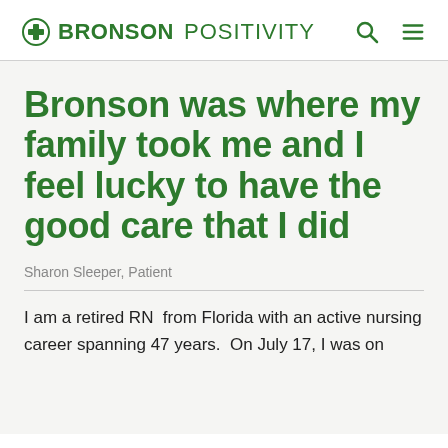BRONSON POSITIVITY
Bronson was where my family took me and I feel lucky to have the good care that I did
Sharon Sleeper, Patient
I am a retired RN  from Florida with an active nursing career spanning 47 years.  On July 17, I was on